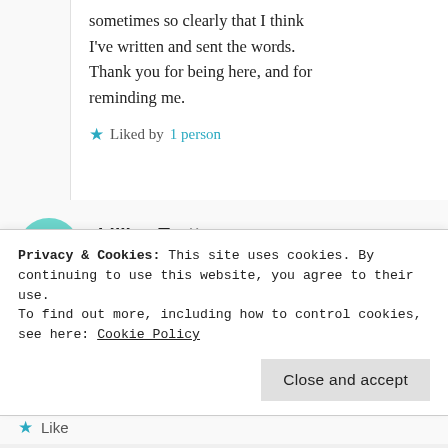sometimes so clearly that I think I've written and sent the words. Thank you for being here, and for reminding me.
★ Liked by 1 person
Lillian Trotter
February 21, 2017 at 8:08 am
Privacy & Cookies: This site uses cookies. By continuing to use this website, you agree to their use.
To find out more, including how to control cookies, see here: Cookie Policy
Close and accept
★ Like